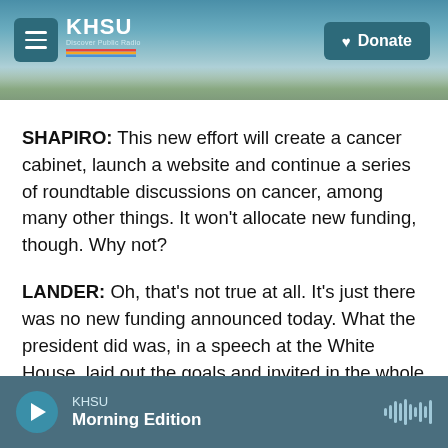KHSU — Donate
SHAPIRO: This new effort will create a cancer cabinet, launch a website and continue a series of roundtable discussions on cancer, among many other things. It won't allocate new funding, though. Why not?
LANDER: Oh, that's not true at all. It's just there was no new funding announced today. What the president did was, in a speech at the White House, laid out the goals and invited in the whole cancer community, from his Cabinet to patients and advocates and doctors around the country, to
KHSU — Morning Edition